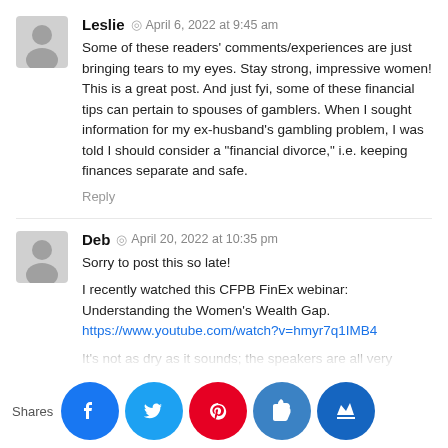Leslie © April 6, 2022 at 9:45 am
Some of these readers' comments/experiences are just bringing tears to my eyes. Stay strong, impressive women! This is a great post. And just fyi, some of these financial tips can pertain to spouses of gamblers. When I sought information for my ex-husband's gambling problem, I was told I should consider a "financial divorce," i.e. keeping finances separate and safe.
Reply
Deb © April 20, 2022 at 10:35 pm
Sorry to post this so late!
I recently watched this CFPB FinEx webinar: Understanding the Women's Wealth Gap. https://www.youtube.com/watch?v=hmyr7q1IMB4
It's not as dry as it sounds; the speakers are all very engaging. It's actually several three female speakers discussing issues that affect women disproportionately (and in the BIPOC community, this is compounded). Here's the speaker and org li
Presenters:
Shares